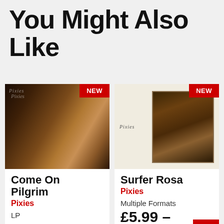You Might Also Like
[Figure (photo): Album art for Come On Pilgrim by Pixies with NEW badge]
[Figure (photo): Album art for Surfer Rosa by Pixies with NEW badge]
Come On Pilgrim
Pixies
LP
£19.99
Surfer Rosa
Pixies
Multiple Formats
£5.99 –
£19.99